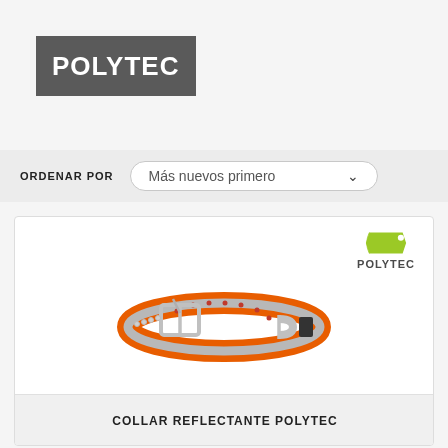[Figure (logo): POLYTEC brand logo — white bold text on dark grey/charcoal rectangle background]
ORDENAR POR    Más nuevos primero
[Figure (photo): Product card showing an orange reflective dog collar with silver buckle and D-ring, with Polytec logo (green leaf shape + POLYTEC text) in upper right of card. Below the image is a grey bar with text COLLAR REFLECTANTE POLYTEC.]
COLLAR REFLECTANTE POLYTEC